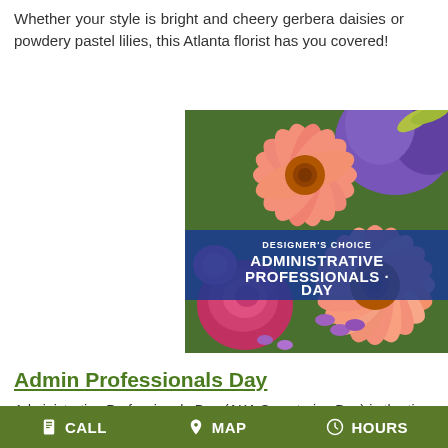Whether your style is bright and cheery gerbera daisies or powdery pastel lilies, this Atlanta florist has you covered!
[Figure (photo): Colorful flower arrangement with pink gerbera daisies, purple irises, and roses. Overlaid text reads: DESIGNER'S CHOICE ADMINISTRATIVE PROFESSIONALS DAY]
Admin Professionals Day
Administrative Professionals Day (AKA Secretaries Day) is the time when those in charge show appreciation to their staff for all...
CALL  MAP  HOURS